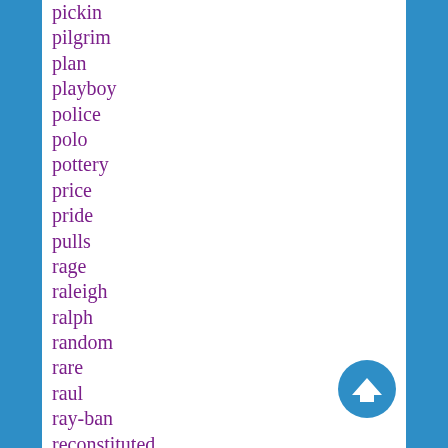pickin
pilgrim
plan
playboy
police
polo
pottery
price
pride
pulls
rage
raleigh
ralph
random
rare
raul
ray-ban
reconstituted
recreating
redbridge
redone